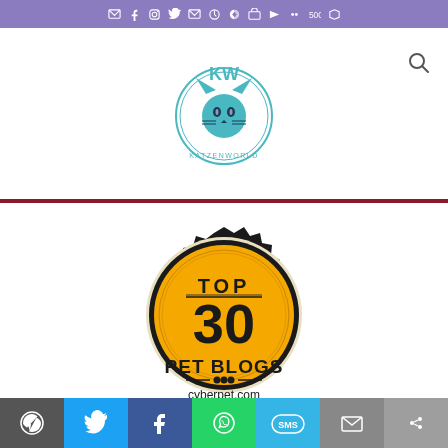Social media icons bar (email, facebook, instagram, twitter, email, pinterest, rss, linkedin, youtube, social icons)
[Figure (logo): KatzenWorld website logo — circular badge with cat illustration and text 'KATZENWORLD']
[Figure (infographic): Top 30 Pet Blogs award badge from cyberpet.com — dark gear/cog-shaped medallion with gold/yellow circle center reading TOP 30 PET BLOGS cyberpet.com]
Share bar with icons: WordPress, Twitter, Facebook, WhatsApp, SMS, Email, other